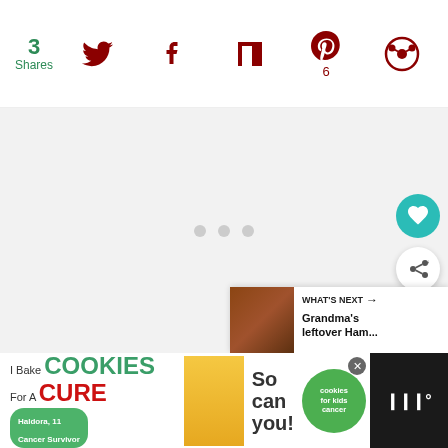[Figure (screenshot): Social sharing bar with share count of 3, Twitter bird icon, Facebook F icon, Flipboard icon, Pinterest icon with count 6, and a circular share icon]
[Figure (photo): Large white/light gray content area placeholder with three loading dots in the center]
[Figure (screenshot): Teal circular favorite/heart button and white circular share button floating on right side]
[Figure (screenshot): What's Next panel with thumbnail of food (Grandma's leftover Ham recipe) in bottom right]
[Figure (screenshot): Advertisement banner: I Bake COOKIES For A CURE - Haldora, 11 Cancer Survivor - So can you! - cookies for kids cancer logo, and wordmark on dark background]